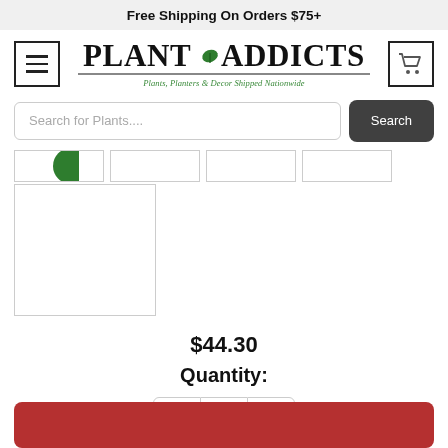Free Shipping On Orders $75+
[Figure (logo): Plant Addicts logo with hamburger menu icon on left, shopping cart icon on right. Logo text reads PLANT ADDICTS with leaf icon, tagline: Plants, Planters & Decor Shipped Nationwide]
Search for Plants....
[Figure (screenshot): Product image thumbnails strip showing 4 thumbnail placeholders, first has a partial green leaf visible. Below is a large white square product image placeholder.]
$44.30
Quantity:
[Figure (other): Quantity selector with minus (chevron down) button, displaying 1, and plus (chevron up) button]
[Figure (other): Red Add to Cart button at bottom of page (partially visible)]